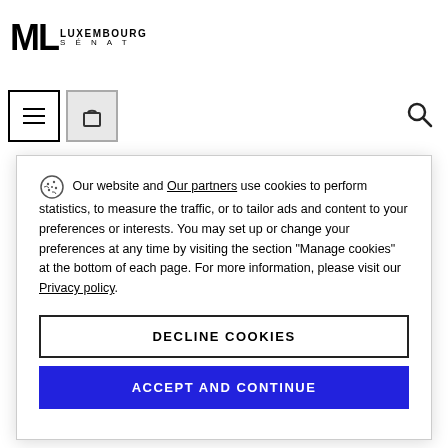ML LUXEMBOURG SÉNAT
[Figure (screenshot): Navigation icons: hamburger menu button, shopping bag button, and search icon]
Our website and Our partners use cookies to perform statistics, to measure the traffic, or to tailor ads and content to your preferences or interests. You may set up or change your preferences at any time by visiting the section "Manage cookies" at the bottom of each page. For more information, please visit our Privacy policy.
DECLINE COOKIES
ACCEPT AND CONTINUE